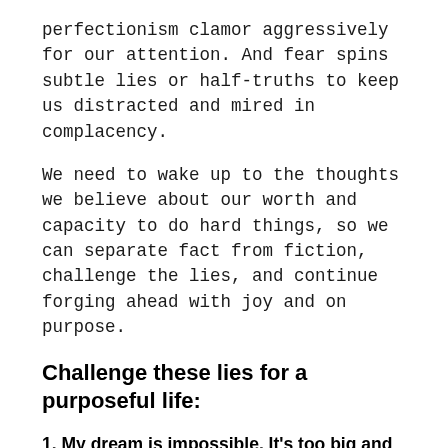perfectionism clamor aggressively for our attention. And fear spins subtle lies or half-truths to keep us distracted and mired in complacency.
We need to wake up to the thoughts we believe about our worth and capacity to do hard things, so we can separate fact from fiction, challenge the lies, and continue forging ahead with joy and on purpose.
Challenge these lies for a purposeful life:
1. My dream is impossible. It's too big and will take too long.
When there is a huge gulf between where